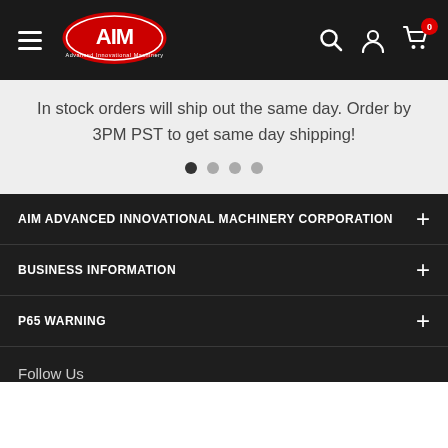[Figure (logo): AIM Advanced Innovational Machinery Corporation logo with red oval and white AIM text, navigation bar with hamburger menu, search, user, and cart icons with badge showing 0]
In stock orders will ship out the same day. Order by 3PM PST to get same day shipping!
AIM ADVANCED INNOVATIONAL MACHINERY CORPORATION
BUSINESS INFORMATION
P65 WARNING
Follow Us